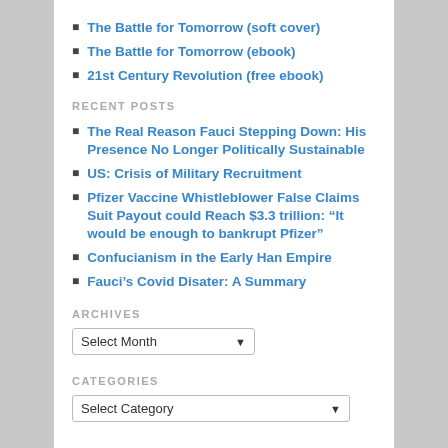The Battle for Tomorrow (soft cover)
The Battle for Tomorrow (ebook)
21st Century Revolution (free ebook)
RECENT POSTS
The Real Reason Fauci Stepping Down: His Presence No Longer Politically Sustainable
US: Crisis of Military Recruitment
Pfizer Vaccine Whistleblower False Claims Suit Payout could Reach $3.3 trillion: “It would be enough to bankrupt Pfizer”
Confucianism in the Early Han Empire
Fauci’s Covid Disater: A Summary
ARCHIVES
Select Month
CATEGORIES
Select Category